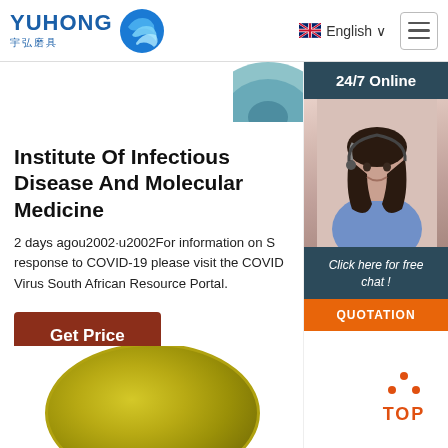[Figure (logo): Yuhong logo with blue wave icon and Chinese characters 宇弘磨具]
English ∨
[Figure (screenshot): 24/7 Online customer service representative photo with headset]
Institute Of Infectious Disease And Molecular Medicine
2 days agou2002·u2002For information on S response to COVID-19 please visit the COVID Virus South African Resource Portal.
[Figure (infographic): Get Price button - dark red/brown background]
[Figure (infographic): TOP button with orange dots and text]
[Figure (photo): Yellow-green abrasive disc partially visible at bottom of page]